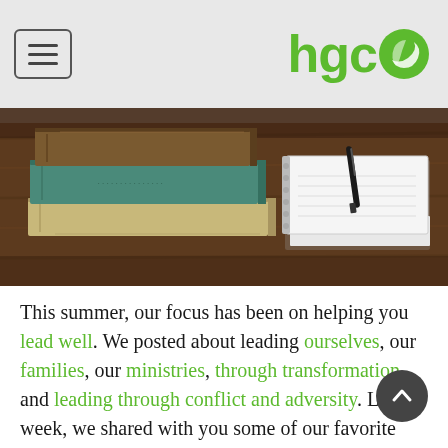hgco
[Figure (photo): Stacked old books beside a white spiral notebook with a pen on a wooden table]
This summer, our focus has been on helping you lead well. We posted about leading ourselves, our families, our ministries, through transformation, and leading through conflict and adversity. Last week, we shared with you some of our favorite Podcasts to help you grow and mature in your faith, marriage/family, and ministry. This week, our focus is Books. Check out the five that we think you should read this summer.